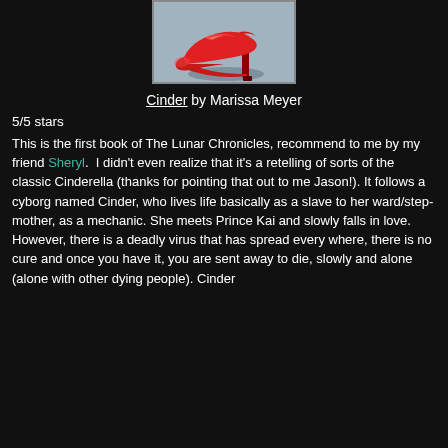[Figure (photo): Photo of a red high-heel shoe against a light blue-grey background, framed with a thin border]
Cinder by Marissa Meyer
5/5 stars
This is the first book of The Lunar Chronicles, recommend to me by my friend Sheryl.  I didn't even realize that it's a retelling of sorts of the classic Cinderella (thanks for pointing that out to me Jason!). It follows a cyborg named Cinder, who lives life basically as a slave to her ward/step-mother, as a mechanic. She meets Prince Kai and slowly falls in love. However, there is a deadly virus that has spread every where, there is no cure and once you have it, you are sent away to die, slowly and alone (alone with other dying people). Cinder